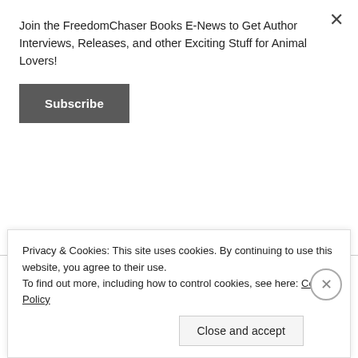Join the FreedomChaser Books E-News to Get Author Interviews, Releases, and other Exciting Stuff for Animal Lovers!
Subscribe
in Honor of National and International Dog Day
AUGUST 26, 2021 / 1 COMMENT
Privacy & Cookies: This site uses cookies. By continuing to use this website, you agree to their use. To find out more, including how to control cookies, see here: Cookie Policy
Close and accept